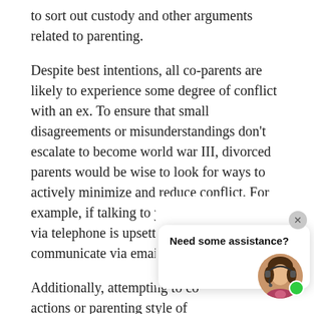to sort out custody and other arguments related to parenting.
Despite best intentions, all co-parents are likely to experience some degree of conflict with an ex. To ensure that small disagreements or misunderstandings don't escalate to become world war III, divorced parents would be wise to look for ways to actively minimize and reduce conflict. For example, if talking to your ex face-to-face or via telephone is upsetting, resolve to only communicate via email or text message.
Additionally, attempting to control the actions or parenting style of an ex can be maddening. Therefore, unless a child's safety or health is in danger, resolving to allow an ex to exercise his or her own parenting tactics can greatly reduce stress and conflict
[Figure (other): Chat widget overlay with title 'Need some assistance?' and a female customer support avatar with headset, green online indicator dot, and close button.]